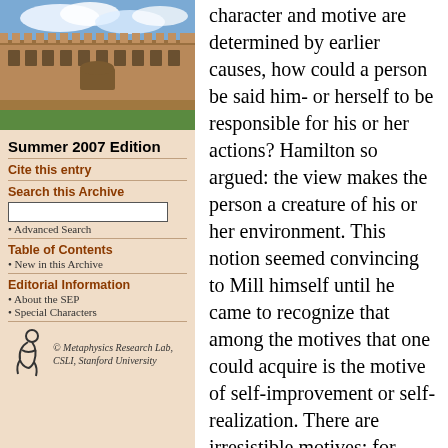[Figure (photo): Photograph of a historic university building (quadrangle) with sandstone architecture under a blue sky with clouds.]
Summer 2007 Edition
Cite this entry
Search this Archive
Advanced Search
Table of Contents
New in this Archive
Editorial Information
About the SEP
Special Characters
[Figure (logo): Metaphysics Research Lab logo — a stylized figure symbol]
© Metaphysics Research Lab, CSLI, Stanford University
character and motive are determined by earlier causes, how could a person be said him- or herself to be responsible for his or her actions? Hamilton so argued: the view makes the person a creature of his or her environment. This notion seemed convincing to Mill himself until he came to recognize that among the motives that one could acquire is the motive of self-improvement or self-realization. There are irresistible motives; for these we are not as persons responsible. But there are also resistible motives, and these we can shape and determine. That is, we can shape and determine